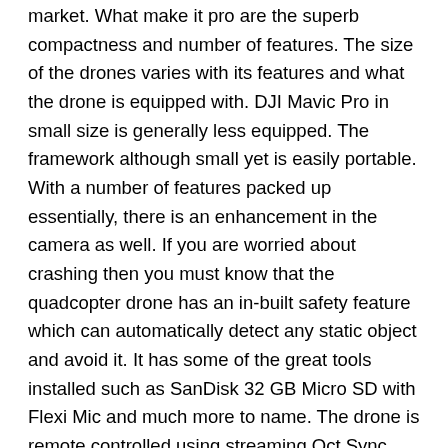market. What make it pro are the superb compactness and number of features. The size of the drones varies with its features and what the drone is equipped with. DJI Mavic Pro in small size is generally less equipped. The framework although small yet is easily portable. With a number of features packed up essentially, there is an enhancement in the camera as well. If you are worried about crashing then you must know that the quadcopter drone has an in-built safety feature which can automatically detect any static object and avoid it. It has some of the great tools installed such as SanDisk 32 GB Micro SD with Flexi Mic and much more to name. The drone is remote controlled using streaming Oct Sync technology for transmission with a spectrum of 4.3mi and 1080p video quality. Each and every video clips are 4k giving the operator best perks.
[asa2]B01LZ8QTSU[/asa2]
2  Cheerwing Syma X5SW-V3 FPV Explorers